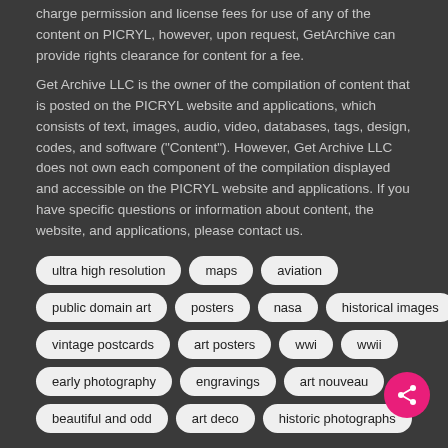charge permission and license fees for use of any of the content on PICRYL, however, upon request, GetArchive can provide rights clearance for content for a fee.
Get Archive LLC is the owner of the compilation of content that is posted on the PICRYL website and applications, which consists of text, images, audio, video, databases, tags, design, codes, and software ("Content"). However, Get Archive LLC does not own each component of the compilation displayed and accessible on the PICRYL website and applications. If you have specific questions or information about content, the website, and applications, please contact us.
ultra high resolution
maps
aviation
public domain art
posters
nasa
historical images
vintage postcards
art posters
wwi
wwii
early photography
engravings
art nouveau
beautiful and odd
art deco
historic photographs